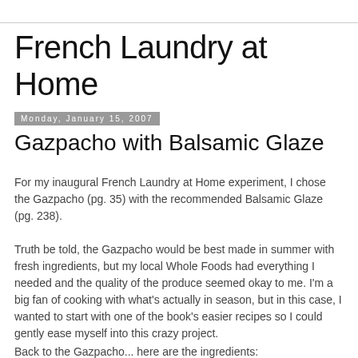French Laundry at Home
Monday, January 15, 2007
Gazpacho with Balsamic Glaze
For my inaugural French Laundry at Home experiment, I chose the Gazpacho (pg. 35) with the recommended Balsamic Glaze (pg. 238).
Truth be told, the Gazpacho would be best made in summer with fresh ingredients, but my local Whole Foods had everything I needed and the quality of the produce seemed okay to me. I'm a big fan of cooking with what's actually in season, but in this case, I wanted to start with one of the book's easier recipes so I could gently ease myself into this crazy project.
Back to the Gazpacho... here are the ingredients: